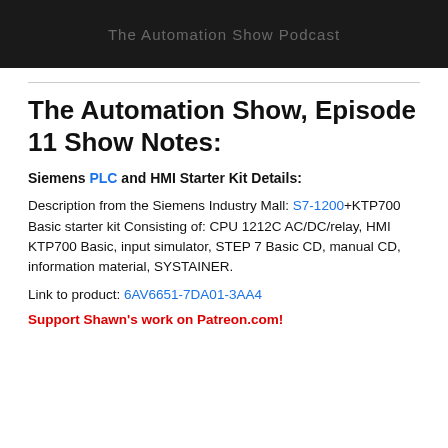[Figure (screenshot): Dark banner with text 'The Automation Show' or similar watermark]
The Automation Show, Episode 11 Show Notes:
Siemens PLC and HMI Starter Kit Details:
Description from the Siemens Industry Mall: S7-1200+KTP700 Basic starter kit Consisting of: CPU 1212C AC/DC/relay, HMI KTP700 Basic, input simulator, STEP 7 Basic CD, manual CD, information material, SYSTAINER.
Link to product: 6AV6651-7DA01-3AA4
Support Shawn's work on Patreon.com!